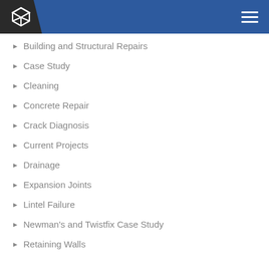[Figure (logo): Cube/box logo icon in white on dark background with blue header bar and hamburger menu icon]
Building and Structural Repairs
Case Study
Cleaning
Concrete Repair
Crack Diagnosis
Current Projects
Drainage
Expansion Joints
Lintel Failure
Newman's and Twistfix Case Study
Retaining Walls